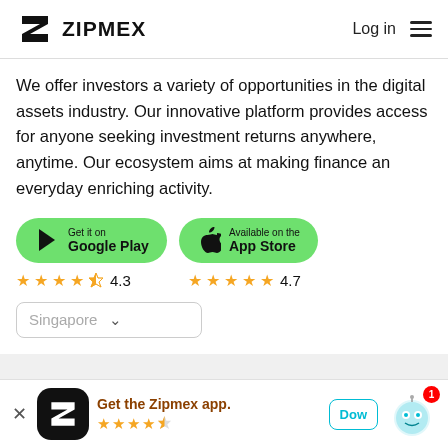ZIPMEX | Log in
We offer investors a variety of opportunities in the digital assets industry. Our innovative platform provides access for anyone seeking investment returns anywhere, anytime. Our ecosystem aims at making finance an everyday enriching activity.
[Figure (screenshot): Google Play store button (green pill) with Play icon, text 'Get it on Google Play']
[Figure (screenshot): App Store button (green pill) with Apple icon, text 'Available on the App Store']
★★★★½ 4.3
★★★★★ 4.7
[Figure (screenshot): Singapore country selector dropdown]
[Figure (screenshot): Bottom app download banner: Zipmex app icon, 'Get the Zipmex app.' text, star rating 4.3, Download button, robot chatbot icon with badge 1]